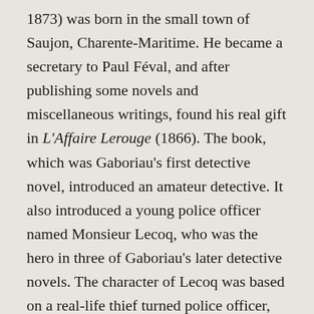1873) was born in the small town of Saujon, Charente-Maritime. He became a secretary to Paul Féval, and after publishing some novels and miscellaneous writings, found his real gift in L'Affaire Lerouge (1866). The book, which was Gaboriau's first detective novel, introduced an amateur detective. It also introduced a young police officer named Monsieur Lecoq, who was the hero in three of Gaboriau's later detective novels. The character of Lecoq was based on a real-life thief turned police officer, Eugène François Vidocq (1775–1857), whose own memoirs, Les Vrais Mémoires de Vidocq, mixed fiction and fact. It may also have been influenced by the villainous Monsieur Lecoq, one of the main protagonists of Féval's Les